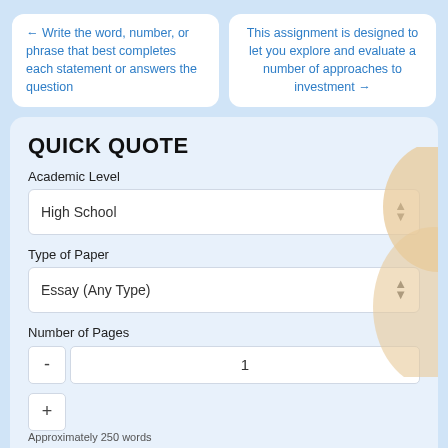← Write the word, number, or phrase that best completes each statement or answers the question
This assignment is designed to let you explore and evaluate a number of approaches to investment →
QUICK QUOTE
Academic Level
High School
Type of Paper
Essay (Any Type)
Number of Pages
1
Approximately 250 words
Urgency
21 Days